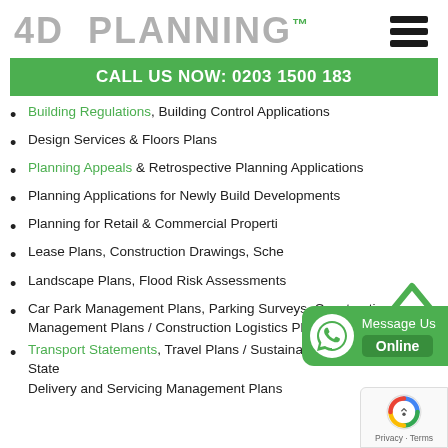4D PLANNING™
CALL US NOW: 0203 1500 183
Building Regulations, Building Control Applications
Design Services & Floors Plans
Planning Appeals & Retrospective Planning Applications
Planning Applications for Newly Build Developments
Planning for Retail & Commercial Properties
Lease Plans, Construction Drawings, Schedules
Landscape Plans, Flood Risk Assessments
Car Park Management Plans, Parking Surveys, Construction Management Plans / Construction Logistics Plans.
Transport Statements, Travel Plans / Sustainable Travel Statements, Delivery and Servicing Management Plans